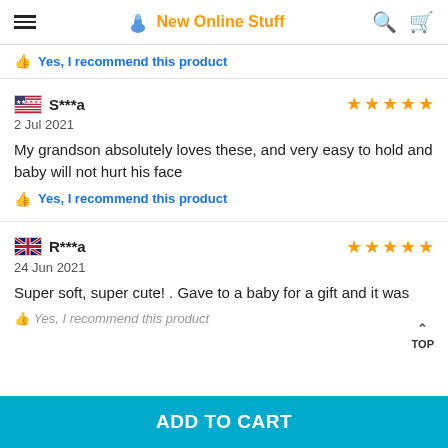New Online Stuff — navigation header
Yes, I recommend this product
S***a — 2 Jul 2021 — 5 stars
My grandson absolutely loves these, and very easy to hold and baby will not hurt his face
Yes, I recommend this product
R***a — 24 Jun 2021 — 5 stars
Super soft, super cute! . Gave to a baby for a gift and it was
ADD TO CART